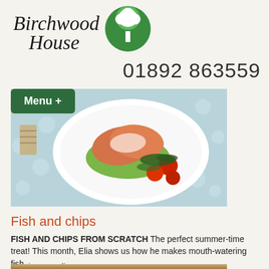[Figure (logo): Birchwood House logo with cursive text and green circle with white tree]
01892 863559
Menu +
[Figure (photo): A plate of fish with cherry tomatoes and greens on a polka dot tablecloth]
Fish and chips
FISH AND CHIPS FROM SCRATCH The perfect summer-time treat! This month, Elia shows us how he makes mouth-watering fish
Continue reading →